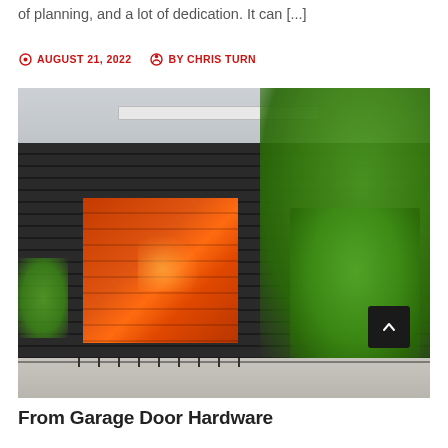of planning, and a lot of dedication. It can [...]
AUGUST 21, 2022   BY CHRIS TURN
[Figure (photo): Photograph of a modern building with dark corrugated metal siding and a bright orange-red garage door, flanked by green trees, with a multi-story structure visible behind it. A scroll-to-top button appears in the lower right corner of the image.]
From Garage Door Hardware